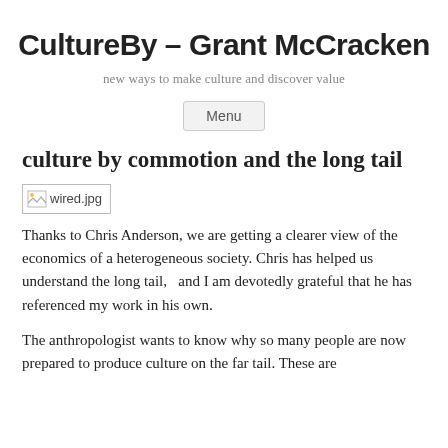CultureBy – Grant McCracken
new ways to make culture and discover value
Menu
culture by commotion and the long tail
[Figure (other): Broken image placeholder showing wired.jpg]
Thanks to Chris Anderson, we are getting a clearer view of the economics of a heterogeneous society. Chris has helped us understand the long tail,   and I am devotedly grateful that he has referenced my work in his own.
The anthropologist wants to know why so many people are now prepared to produce culture on the far tail. These are